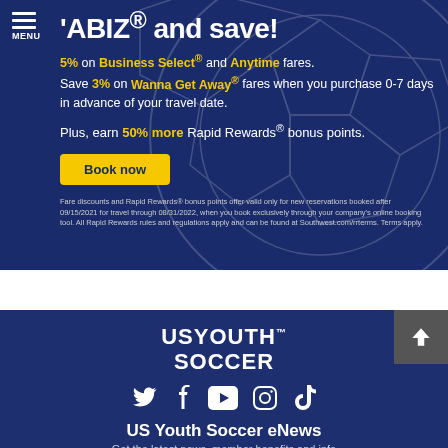[Figure (screenshot): Southwest Airlines promotional banner on dark blue background with soccer ball pattern. Shows headline 'ABIZ® and save!' with discount offers: 5% on Business Select® and Anytime fares, 3% on Wanna Get Away® fares when purchased 0-7 days in advance, plus 50% more Rapid Rewards® bonus points. Yellow 'Book now' button and small legal disclaimer text at bottom.]
[Figure (screenshot): US Youth Soccer footer section on dark navy background. Shows 'US YOUTH SOCCER' logo in bold white text, social media icons (Twitter, Facebook, YouTube, Instagram, TikTok), 'US Youth Soccer eNews' heading, and partial text 'Get the latest news, member benefits and info'. Gray back-to-top arrow button in bottom right corner.]